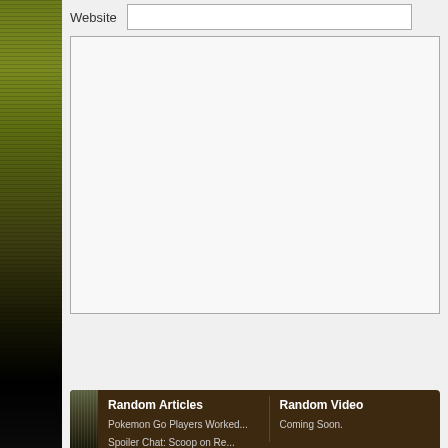Website
submit comment
Random Articles
Random Video
Pokemon Go Players Worked...
Spoiler Chat: Scoop on Re...
Coming Soon.